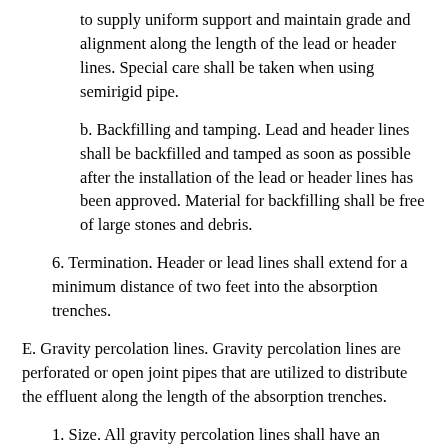to supply uniform support and maintain grade and alignment along the length of the lead or header lines. Special care shall be taken when using semirigid pipe.
b. Backfilling and tamping. Lead and header lines shall be backfilled and tamped as soon as possible after the installation of the lead or header lines has been approved. Material for backfilling shall be free of large stones and debris.
6. Termination. Header or lead lines shall extend for a minimum distance of two feet into the absorption trenches.
E. Gravity percolation lines. Gravity percolation lines are perforated or open joint pipes that are utilized to distribute the effluent along the length of the absorption trenches.
1. Size. All gravity percolation lines shall have an